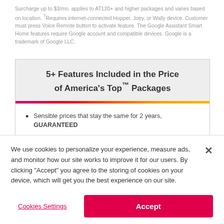Surcharge up to $3/mo. applies to AT120+ and higher packages and varies based on location. †Requires internet-connected Hopper, Joey, or Wally device. Customer must press Voice Remote button to activate feature. The Google Assistant Smart Home features require Google account and compatible devices. Google is a trademark of Google LLC.
5+ Features Included in the Price of America's Top™ Packages
Sensible prices that stay the same for 2 years, GUARANTEED
FREE HD for life® — and more features coming...
We use cookies to personalize your experience, measure ads, and monitor how our site works to improve it for our users. By clicking "Accept" you agree to the storing of cookies on your device, which will get you the best experience on our site.